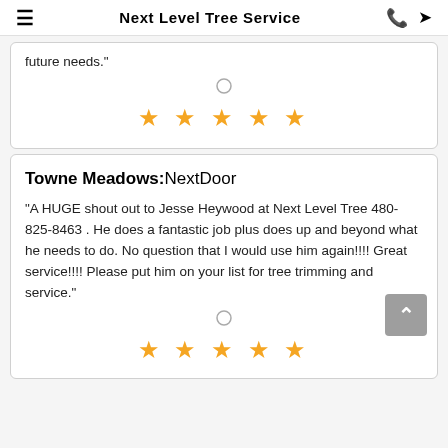Next Level Tree Service
future needs."
[Figure (other): Five gold star rating icons]
Towne Meadows:NextDoor
"A HUGE shout out to Jesse Heywood at Next Level Tree 480-825-8463 . He does a fantastic job plus does up and beyond what he needs to do. No question that I would use him again!!!! Great service!!!! Please put him on your list for tree trimming and service."
[Figure (other): Five gold star rating icons]